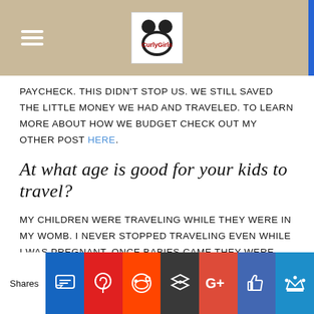[Blog header with logo and hamburger menu]
paycheck. This didn't stop us. We still saved the little money we had and traveled. To learn more about how we budget check out my other post HERE.
At what age is good for your kids to travel?
My children were traveling while they were in my womb. I never stopped traveling even while I was pregnant. Once babies came they were traveling with us. Kids are so flexible. It is amazing. My children can remember
Shares [social share buttons: SMS, Pinterest, Reddit, Buffer, Google+, Like, Crown]